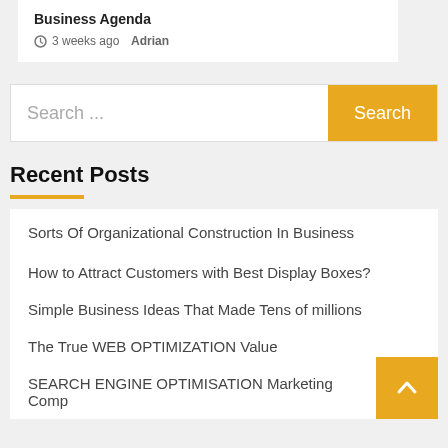Business Agenda
3 weeks ago  Adrian
Search ...
Recent Posts
Sorts Of Organizational Construction In Business
How to Attract Customers with Best Display Boxes?
Simple Business Ideas That Made Tens of millions
The True WEB OPTIMIZATION Value
SEARCH ENGINE OPTIMISATION Marketing Comp